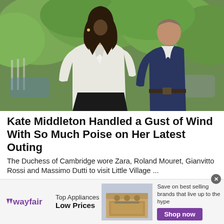[Figure (photo): Two people walking outdoors. A woman in a white blazer and white top smiling at the camera, with a man in a dark navy blazer behind her. Green trees in the background.]
Kate Middleton Handled a Gust of Wind With So Much Poise on Her Latest Outing
The Duchess of Cambridge wore Zara, Roland Mouret, Gianvitto Rossi and Massimo Dutti to visit Little Village ...
Marie Claire
[Figure (infographic): Wayfair advertisement banner. Shows wayfair logo, text 'Top Appliances Low Prices', image of a stove/range appliance, and text 'Save on best selling brands that live up to the hype' with a purple 'Shop now' button.]